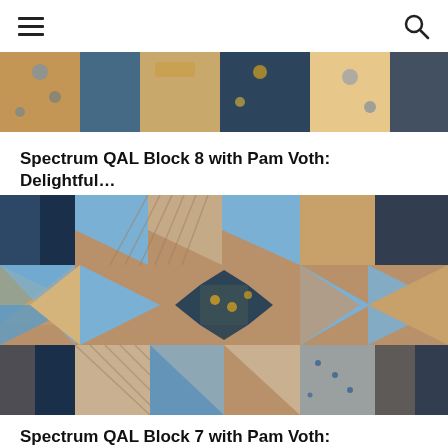≡  🔍
[Figure (photo): Partial view of a quilt with blue floral and golden fabric pattern]
Spectrum QAL Block 8 with Pam Voth: Delightful…
[Figure (photo): Quilt block featuring blue, navy, golden yellow, and beige/striped fabrics arranged in a star/flying geese pattern]
Spectrum QAL Block 7 with Pam Voth: Delightful…